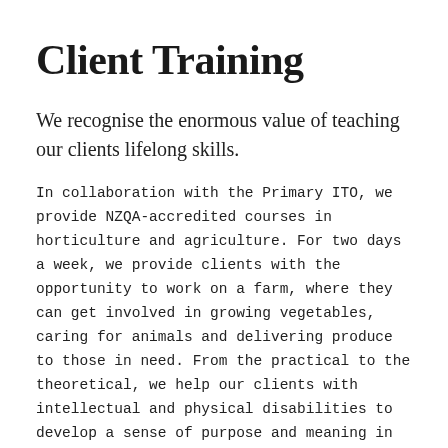Client Training
We recognise the enormous value of teaching our clients lifelong skills.
In collaboration with the Primary ITO, we provide NZQA-accredited courses in horticulture and agriculture. For two days a week, we provide clients with the opportunity to work on a farm, where they can get involved in growing vegetables, caring for animals and delivering produce to those in need. From the practical to the theoretical, we help our clients with intellectual and physical disabilities to develop a sense of purpose and meaning in their lives. All vegetables grown on the farm are donated to either the Salvation Army, CRC's residential homes, the local marae or staff. CRC Ltd specialises in inclusive relationships with